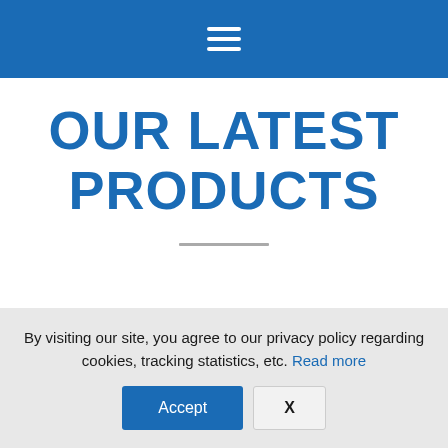≡ (hamburger menu icon)
OUR LATEST PRODUCTS
By visiting our site, you agree to our privacy policy regarding cookies, tracking statistics, etc. Read more
Accept  X